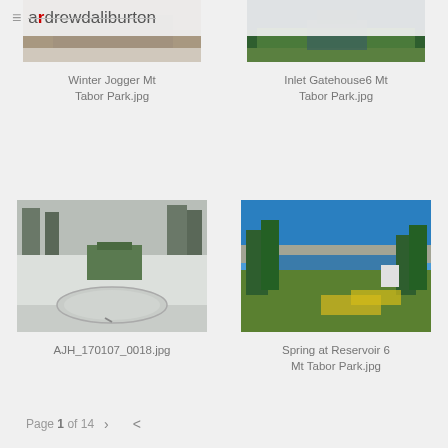≡ andrewdaliburton
[Figure (photo): Partially visible photo of Winter Jogger Mt Tabor Park, top portion cropped]
Winter Jogger Mt Tabor Park.jpg
[Figure (photo): Partially visible photo of Inlet Gatehouse6 Mt Tabor Park, top portion cropped]
Inlet Gatehouse6 Mt Tabor Park.jpg
[Figure (photo): Snow-covered reservoir structure at Mt Tabor Park, wintry gray scene]
AJH_170107_0018.jpg
[Figure (photo): Spring view of Reservoir 6 at Mt Tabor Park with blue sky, green trees, and yellow flowers]
Spring at Reservoir 6 Mt Tabor Park.jpg
Page 1 of 14  >  <